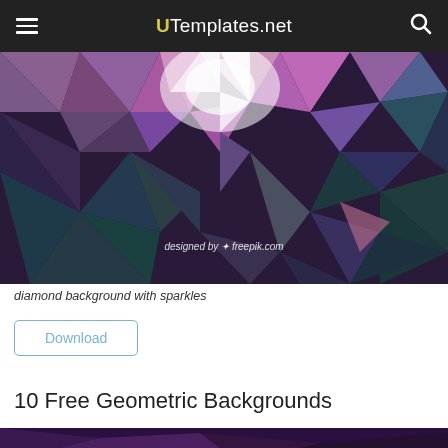UTemplates.net
[Figure (illustration): Abstract low-poly diamond geometric background with sparkles and purple, teal, pink, and white faceted triangles. Watermark: designed by freepik.com]
diamond background with sparkles
Download
10 Free Geometric Backgrounds
[Figure (illustration): Bottom sliver of another geometric/abstract background image in dark purple tones]